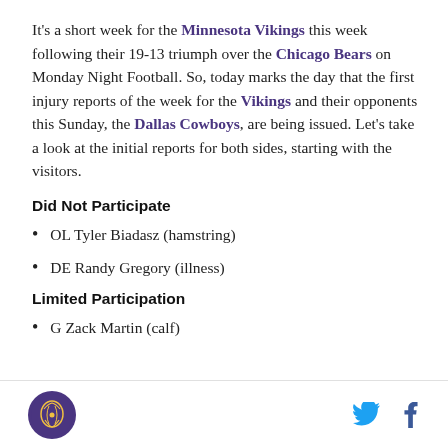It's a short week for the Minnesota Vikings this week following their 19-13 triumph over the Chicago Bears on Monday Night Football. So, today marks the day that the first injury reports of the week for the Vikings and their opponents this Sunday, the Dallas Cowboys, are being issued. Let's take a look at the initial reports for both sides, starting with the visitors.
Did Not Participate
OL Tyler Biadasz (hamstring)
DE Randy Gregory (illness)
Limited Participation
G Zack Martin (calf)
[logo] [twitter] [facebook]